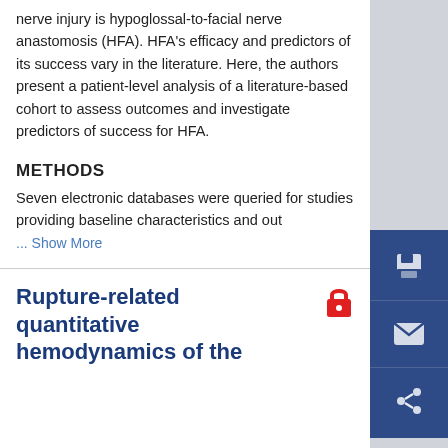nerve injury is hypoglossal-to-facial nerve anastomosis (HFA). HFA's efficacy and predictors of its success vary in the literature. Here, the authors present a patient-level analysis of a literature-based cohort to assess outcomes and investigate predictors of success for HFA.
METHODS
Seven electronic databases were queried for studies providing baseline characteristics and out ... Show More
Rupture-related quantitative hemodynamics of the